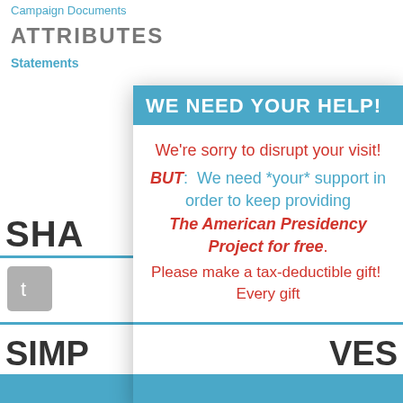Campaign Documents
ATTRIBUTES
Statements
WE NEED YOUR HELP!
We're sorry to disrupt your visit! BUT: We need *your* support in order to keep providing The American Presidency Project for free. Please make a tax-deductible gift! Every gift
SHA
SIMP
VES